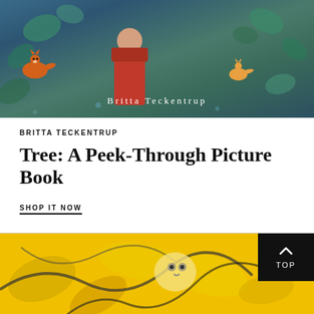[Figure (illustration): Book cover illustration showing foxes and a red-cloaked figure among teal/blue foliage with the author name 'Britta Teckentrup' in white text overlay]
BRITTA TECKENTRUP
Tree: A Peek-Through Picture Book
SHOP IT NOW
[Figure (illustration): Vibrant yellow and black illustration showing abstract floral/bird imagery with a 'TOP' navigation button overlay in the top-right corner]